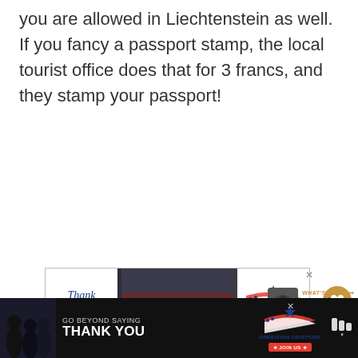you are allowed in Liechtenstein as well. If you fancy a passport stamp, the local tourist office does that for 3 francs, and they stamp your passport!
[Figure (photo): Advertisement banner for Operation Gratitude showing 'Thank You' handwritten text with a pencil graphic, firefighters/military personnel group photo in the middle, and the Operation Gratitude logo on the right]
[Figure (infographic): Bottom advertisement banner for Operation Gratitude on dark background: 'GO BEYOND SAYING THANK YOU' with Operation Gratitude logo and JOIN US button]